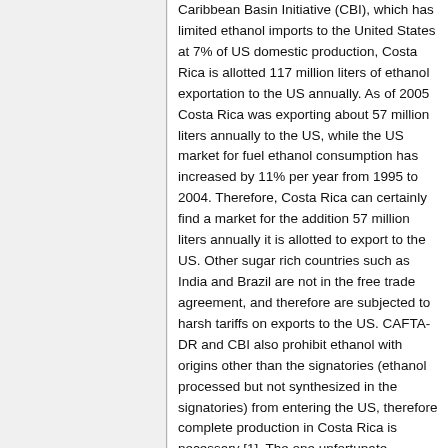Caribbean Basin Initiative (CBI), which has limited ethanol imports to the United States at 7% of US domestic production, Costa Rica is allotted 117 million liters of ethanol exportation to the US annually. As of 2005 Costa Rica was exporting about 57 million liters annually to the US, while the US market for fuel ethanol consumption has increased by 11% per year from 1995 to 2004. Therefore, Costa Rica can certainly find a market for the addition 57 million liters annually it is allotted to export to the US. Other sugar rich countries such as India and Brazil are not in the free trade agreement, and therefore are subjected to harsh tariffs on exports to the US. CAFTA-DR and CBI also prohibit ethanol with origins other than the signatories (ethanol processed but not synthesized in the signatories) from entering the US, therefore complete production in Costa Rica is necessary [1]. The one unfortunate element of producing in Costa Rica is a lack of government incentives; however, it is possible that they could appear